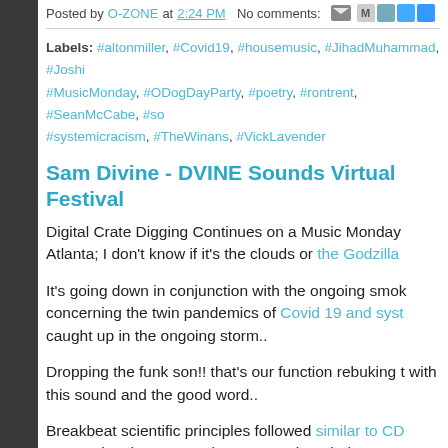Posted by O-ZONE at 2:24 PM   No comments:
Labels: #altonmiller, #Covid19, #housemusic, #JihadMuhammad, #Joshi, #MusicMonday, #ODogDayParty, #poetry, #rontrent, #SeanMcCabe, #so, #systemicracism, #TheWinans, #VickLavender
Sam Divine - DVINE Sounds Virtual Festival
Digital Crate Digging Continues on a Music Monday Atlanta; I don't know if it's the clouds or the Godzilla
It's going down in conjunction with the ongoing smok concerning the twin pandemics of Covid 19 and syst caught up in the ongoing storm..
Dropping the funk son!! that's our function rebuking t with this sound and the good word..
Breakbeat scientific principles followed similar to CD concerning that coronavirus?  even though the pursu